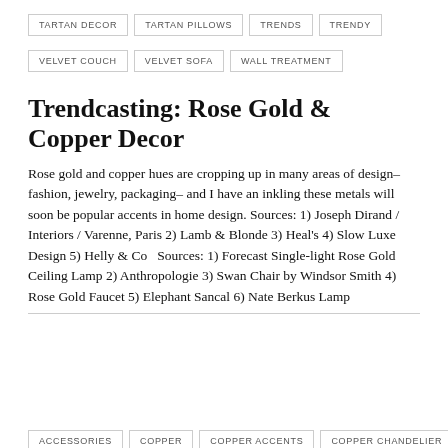TARTAN DECOR
TARTAN PILLOWS
TRENDS
TRENDY
VELVET COUCH
VELVET SOFA
WALL TREATMENT
Trendcasting: Rose Gold & Copper Decor
Rose gold and copper hues are cropping up in many areas of design– fashion, jewelry, packaging– and I have an inkling these metals will soon be popular accents in home design. Sources: 1) Joseph Dirand / Interiors / Varenne, Paris 2) Lamb & Blonde 3) Heal's 4) Slow Luxe Design 5) Helly & Co  Sources: 1) Forecast Single-light Rose Gold Ceiling Lamp 2) Anthropologie 3) Swan Chair by Windsor Smith 4) Rose Gold Faucet 5) Elephant Sancal 6) Nate Berkus Lamp
ACCESSORIES
COPPER
COPPER ACCENTS
COPPER CHANDELIER